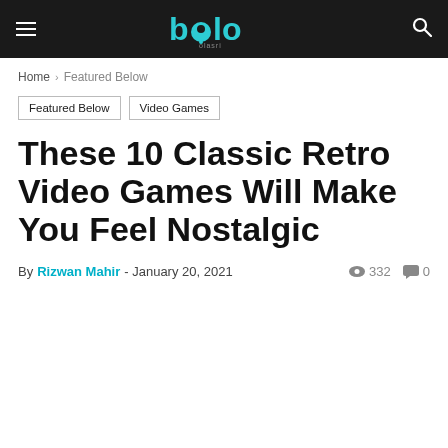bolo — header with hamburger menu, logo, and search icon
Home › Featured Below
Featured Below   Video Games
These 10 Classic Retro Video Games Will Make You Feel Nostalgic
By Rizwan Mahir - January 20, 2021   332   0